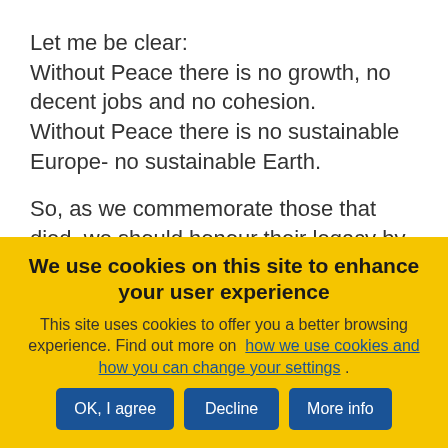Let me be clear:
Without Peace there is no growth, no decent jobs and no cohesion.
Without Peace there is no sustainable Europe- no sustainable Earth.

So, as we commemorate those that died, we should honour their legacy by continuing to build a strong Europe...
We use cookies on this site to enhance your user experience
This site uses cookies to offer you a better browsing experience. Find out more on how we use cookies and how you can change your settings .